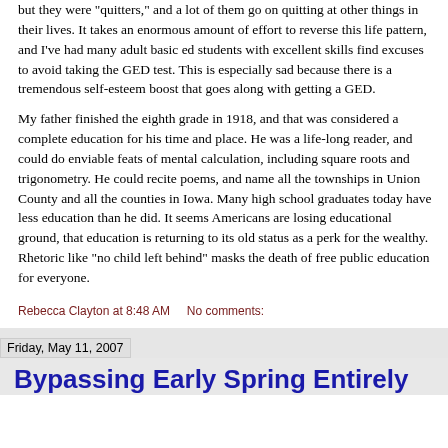but they were "quitters," and a lot of them go on quitting at other things in their lives. It takes an enormous amount of effort to reverse this life pattern, and I've had many adult basic ed students with excellent skills find excuses to avoid taking the GED test. This is especially sad because there is a tremendous self-esteem boost that goes along with getting a GED.
My father finished the eighth grade in 1918, and that was considered a complete education for his time and place. He was a life-long reader, and could do enviable feats of mental calculation, including square roots and trigonometry. He could recite poems, and name all the townships in Union County and all the counties in Iowa. Many high school graduates today have less education than he did. It seems Americans are losing educational ground, that education is returning to its old status as a perk for the wealthy. Rhetoric like "no child left behind" masks the death of free public education for everyone.
Rebecca Clayton at 8:48 AM     No comments:
Friday, May 11, 2007
Bypassing Early Spring Entirely